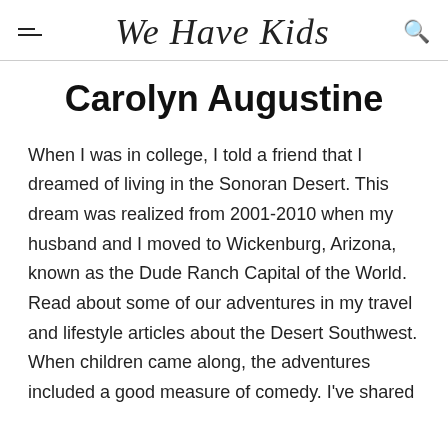We Have Kids
Carolyn Augustine
When I was in college, I told a friend that I dreamed of living in the Sonoran Desert. This dream was realized from 2001-2010 when my husband and I moved to Wickenburg, Arizona, known as the Dude Ranch Capital of the World. Read about some of our adventures in my travel and lifestyle articles about the Desert Southwest. When children came along, the adventures included a good measure of comedy. I've shared